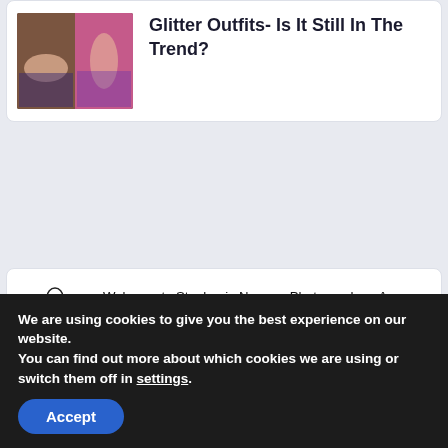[Figure (photo): Two women in fashion outfits, one lying down in glitter, one standing in a pink top and patterned skirt]
Glitter Outfits- Is It Still In The Trend?
[Figure (logo): Stylized figure of a woman, logo for Stephanie Norman Photography]
Welcome to Stephanie Norman Photography – A fashion blog and lifestyle guide. You'll find the best in fashion, style, grooming, fragrances, travel, tech and modern living. Read about the latest fashion. Everything
We are using cookies to give you the best experience on our website.
You can find out more about which cookies we are using or switch them off in settings.
Accept